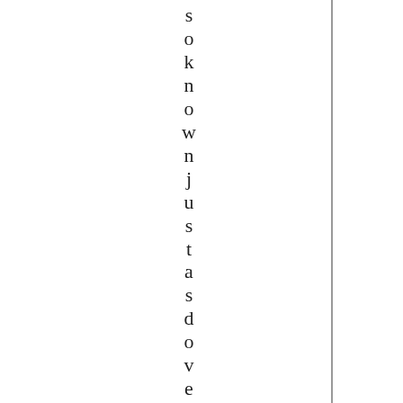soknownjust as dover tailor ,i